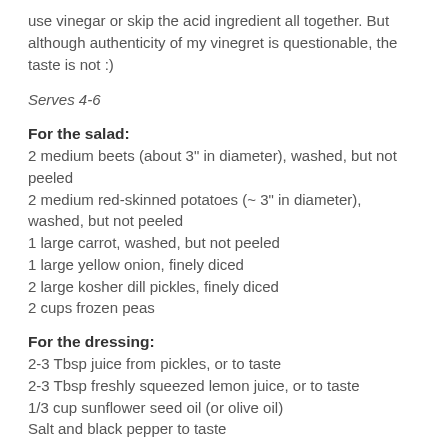use vinegar or skip the acid ingredient all together. But although authenticity of my vinegret is questionable, the taste is not :)
Serves 4-6
For the salad:
2 medium beets (about 3" in diameter), washed, but not peeled
2 medium red-skinned potatoes (~ 3" in diameter), washed, but not peeled
1 large carrot, washed, but not peeled
1 large yellow onion, finely diced
2 large kosher dill pickles, finely diced
2 cups frozen peas
For the dressing:
2-3 Tbsp juice from pickles, or to taste
2-3 Tbsp freshly squeezed lemon juice, or to taste
1/3 cup sunflower seed oil (or olive oil)
Salt and black pepper to taste